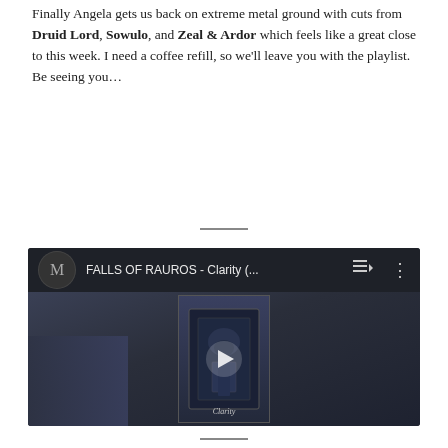Finally Angela gets us back on extreme metal ground with cuts from Druid Lord, Sowulo, and Zeal & Ardor which feels like a great close to this week. I need a coffee refill, so we'll leave you with the playlist. Be seeing you...
[Figure (screenshot): YouTube video embed showing 'FALLS OF RAUROS - Clarity (...' with album art, play button, playlist icon, and three-dot menu icon on a dark blue-grey background.]